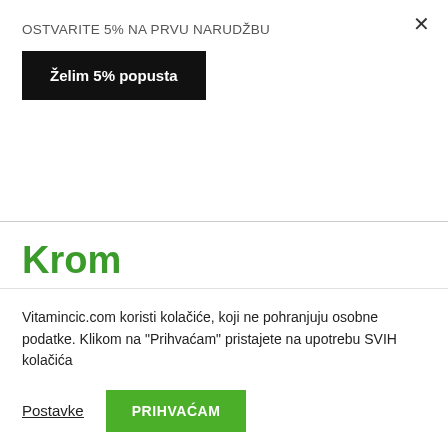OSTVARITE 5% NA PRVU NARUDŽBU
Želim 5% popusta
Krom
Učinci korištenja proizvoda mogu se razlikovati kod
Vitamincic.com koristi kolačiće, koji ne pohranjuju osobne podatke. Klikom na "Prihvaćam" pristajete na upotrebu SVIH kolačića
Postavke
PRIHVAĆAM